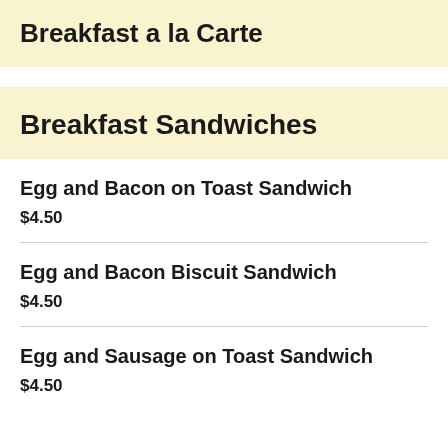Breakfast a la Carte
Breakfast Sandwiches
Egg and Bacon on Toast Sandwich
$4.50
Egg and Bacon Biscuit Sandwich
$4.50
Egg and Sausage on Toast Sandwich
$4.50